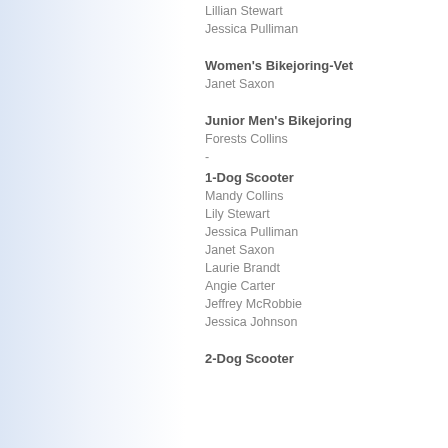Lillian Stewart
Jessica Pulliman
Women's Bikejoring-Vet
Janet Saxon
Junior Men's Bikejoring
Forests Collins
-
1-Dog Scooter
Mandy Collins
Lily Stewart
Jessica Pulliman
Janet Saxon
Laurie Brandt
Angie Carter
Jeffrey McRobbie
Jessica Johnson
2-Dog Scooter